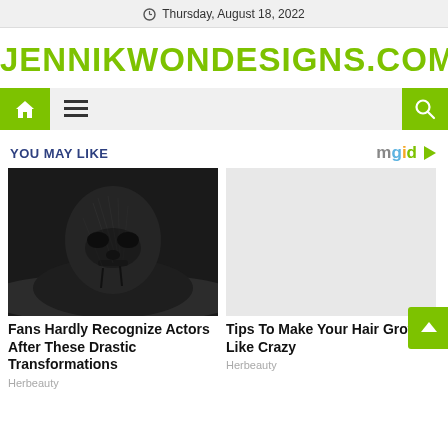Thursday, August 18, 2022
JENNIKWONDESIGNS.COM
[Figure (screenshot): Navigation bar with green home icon, hamburger menu, and green search icon on gray background]
YOU MAY LIKE
[Figure (logo): mgid logo with play button triangle]
[Figure (photo): Dark dramatic photo of a man covered in black substance emerging from water or mud, looking distressed]
Fans Hardly Recognize Actors After These Drastic Transformations
Herbeauty
Tips To Make Your Hair Grow Like Crazy
Herbeauty